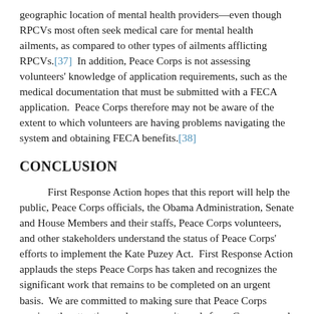geographic location of mental health providers—even though RPCVs most often seek medical care for mental health ailments, as compared to other types of ailments afflicting RPCVs.[37]  In addition, Peace Corps is not assessing volunteers' knowledge of application requirements, such as the medical documentation that must be submitted with a FECA application.  Peace Corps therefore may not be aware of the extent to which volunteers are having problems navigating the system and obtaining FECA benefits.[38]
CONCLUSION
First Response Action hopes that this report will help the public, Peace Corps officials, the Obama Administration, Senate and House Members and their staffs, Peace Corps volunteers, and other stakeholders understand the status of Peace Corps' efforts to implement the Kate Puzey Act.  First Response Action applauds the steps Peace Corps has taken and recognizes the significant work that remains to be completed on an urgent basis.  We are committed to making sure that Peace Corps receives the attention and resources it needs from Congress and the Obama Administration so it can fully and effectively implement the Act